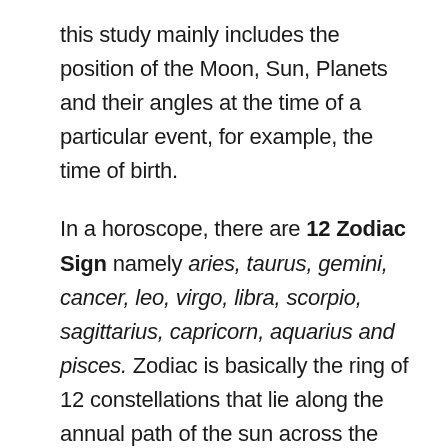this study mainly includes the position of the Moon, Sun, Planets and their angles at the time of a particular event, for example, the time of birth.
In a horoscope, there are 12 Zodiac Sign namely aries, taurus, gemini, cancer, leo, virgo, libra, scorpio, sagittarius, capricorn, aquarius and pisces. Zodiac is basically the ring of 12 constellations that lie along the annual path of the sun across the sky. And these constellations (or houses) recline on the ecliptic plane. The ecliptic plane is the